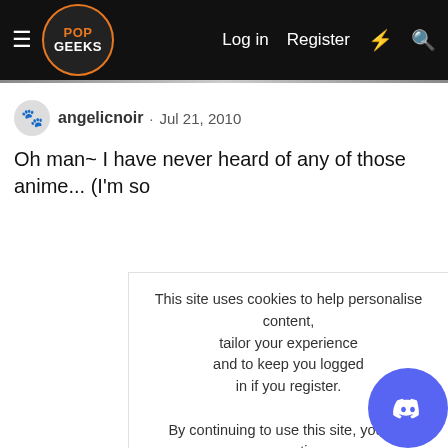Pop Geeks — Log in  Register
angelicnoir · Jul 21, 2010
Oh man~ I have never heard of any of those anime... (I'm so
This site uses cookies to help personalise content, tailor your experience and to keep you logged in if you register.
By continuing to use this site, you are consenting to our use of cookies.
[Accept] [Learn more...]
[Figure (logo): Discord logo button (purple circle with white Discord icon) in bottom-right corner]